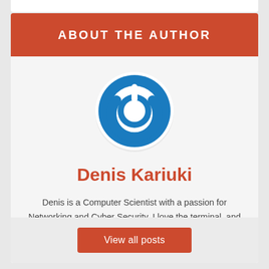ABOUT THE AUTHOR
[Figure (logo): Circular blue power button icon with white power symbol on blue background, with light gray drop shadow]
Denis Kariuki
Denis is a Computer Scientist with a passion for Networking and Cyber Security. I love the terminal, and using Linux is a hobby. I am passionate about sharing tips and ideas about Linux and computing.
View all posts